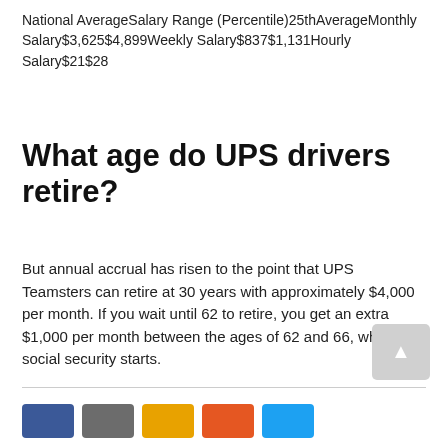National AverageSalary Range (Percentile)25thAverageMonthly Salary$3,625$4,899Weekly Salary$837$1,131Hourly Salary$21$28
What age do UPS drivers retire?
But annual accrual has risen to the point that UPS Teamsters can retire at 30 years with approximately $4,000 per month. If you wait until 62 to retire, you get an extra $1,000 per month between the ages of 62 and 66, when full social security starts.